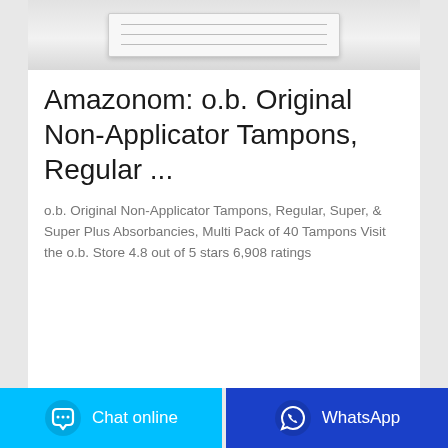[Figure (photo): Product image of folded white fabric/tampon packaging on light grey background]
Amazonom: o.b. Original Non-Applicator Tampons, Regular ...
o.b. Original Non-Applicator Tampons, Regular, Super, & Super Plus Absorbancies, Multi Pack of 40 Tampons Visit the o.b. Store 4.8 out of 5 stars 6,908 ratings
[Figure (infographic): Two bottom buttons: cyan 'Chat online' button with chat bubble icon on left, dark blue 'WhatsApp' button with WhatsApp icon on right]